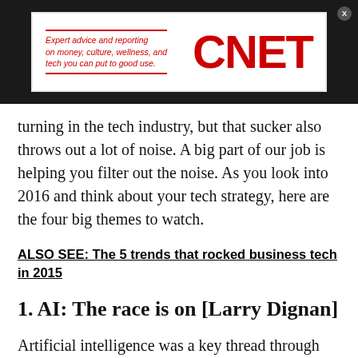[Figure (logo): CNET advertisement banner with red italic text 'Expert advice and reporting on money, culture, wellness, and tech you can put to good use.' and large red CNET logo on dark background]
turning in the tech industry, but that sucker also throws out a lot of noise. A big part of our job is helping you filter out the noise. As you look into 2016 and think about your tech strategy, here are the four big themes to watch.
ALSO SEE: The 5 trends that rocked business tech in 2015
1. AI: The race is on [Larry Dignan]
Artificial intelligence was a key thread through 2015 and will become an even bigger one in 2016. Meanwhile, tech vendors are racing to open source